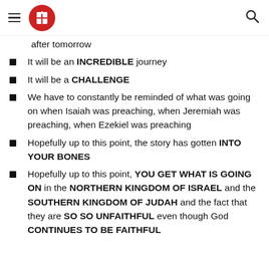Navigation header with hamburger menu, red circular logo with cross/book icon, and search icon
after tomorrow
It will be an INCREDIBLE journey
It will be a CHALLENGE
We have to constantly be reminded of what was going on when Isaiah was preaching, when Jeremiah was preaching, when Ezekiel was preaching
Hopefully up to this point, the story has gotten INTO YOUR BONES
Hopefully up to this point, YOU GET WHAT IS GOING ON in the NORTHERN KINGDOM OF ISRAEL and the SOUTHERN KINGDOM OF JUDAH and the fact that they are SO SO UNFAITHFUL even though God CONTINUES TO BE FAITHFUL